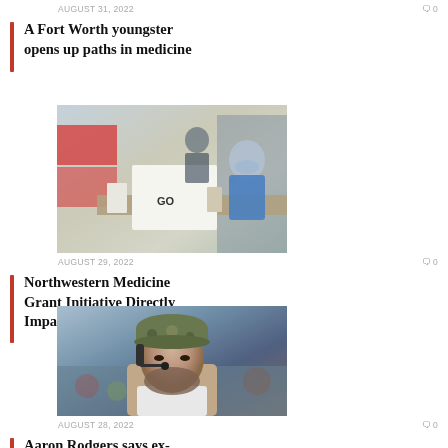AUGUST 31, 2022  🗨 0
A Fort Worth youngster opens up paths in medicine
[Figure (photo): Person wearing blue shirt and mask working at a food bank or distribution center, handling white boxes labeled Go with shelves in background]
AUGUST 29, 2022  🗨 0
Northwestern Medicine Grant Initiative Directly Impacts Local Communities
[Figure (photo): Man wearing camouflage cap and headset with microphone, appearing to be a sports coach or broadcaster at an event]
AUGUST 28, 2022  🗨 0
Aaron Rodgers says ex-teammate was under...